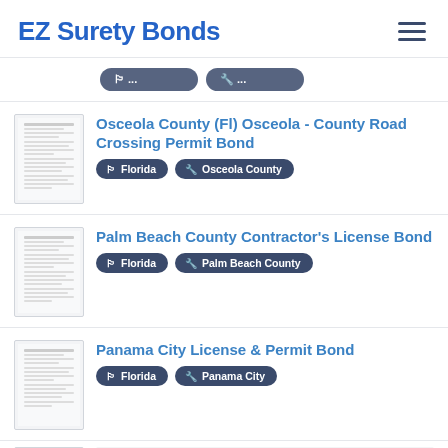EZ Surety Bonds
Osceola County (Fl) Osceola - County Road Crossing Permit Bond | Florida | Osceola County
Palm Beach County Contractor's License Bond | Florida | Palm Beach County
Panama City License & Permit Bond | Florida | Panama City